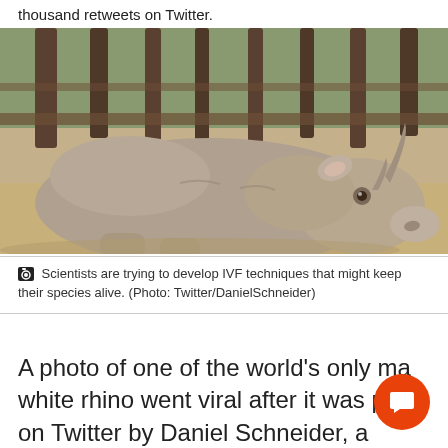thousand retweets on Twitter.
[Figure (photo): A white rhino lying on sandy ground in front of wooden fence/enclosure posts, photographed from the side, showing its large body, horn, and distinctive features.]
Scientists are trying to develop IVF techniques that might keep their species alive. (Photo: Twitter/DanielSchneider)
A photo of one of the world's only ma... white rhino went viral after it was pos... on Twitter by Daniel Schneider, a biologist